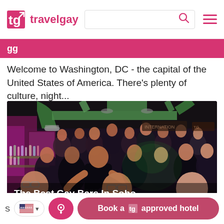travelgay
Welcome to Washington, DC - the capital of the United States of America. There's plenty of culture, night...
[Figure (photo): Crowded gay bar interior with green ventilation pipes on ceiling, pink/magenta lighting on left, people gathered around bar area with bottles visible]
The Best Gay Bars In Soho
S... th... i... of Lo... , n... be... y...
Book a tg approved hotel